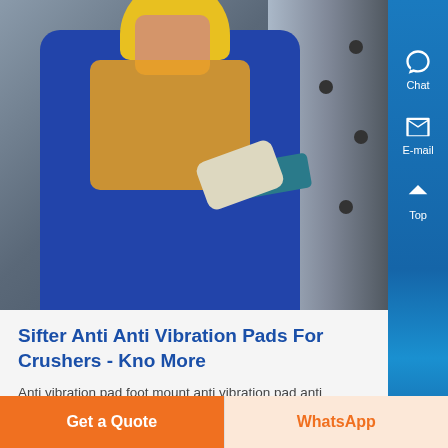[Figure (photo): Worker in blue coveralls, yellow safety helmet and orange high-visibility vest, using a power tool on a metal wall panel with bolts]
Sifter Anti Anti Vibration Pads For Crushers - Kno More
Anti vibration pad foot mount anti vibration pad anti vibration pad foot mount anti vibration pad Manufacture of anti vibration pad foot mount anti vibration pad